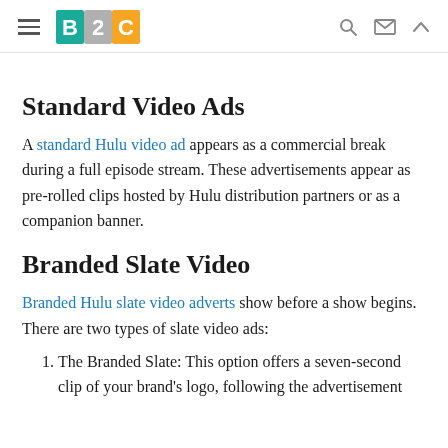B2C [navigation header with logo and icons]
Standard Video Ads
A standard Hulu video ad appears as a commercial break during a full episode stream. These advertisements appear as pre-rolled clips hosted by Hulu distribution partners or as a companion banner.
Branded Slate Video
Branded Hulu slate video adverts show before a show begins. There are two types of slate video ads:
The Branded Slate: This option offers a seven-second clip of your brand's logo, following the advertisement